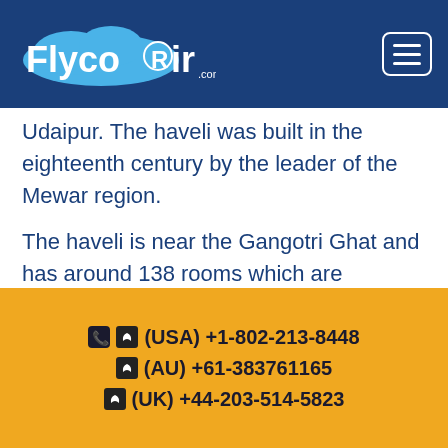FlycoAir.com
Udaipur. The haveli was built in the eighteenth century by the leader of the Mewar region.
The haveli is near the Gangotri Ghat and has around 138 rooms which are beautifully enhanced with age-old design and crafts. This deep-rooted manner in Udaipur is home to numerous social attractions, for example, the longest turban and exhibition which shows various bits of craftsmanship.
(USA) +1-802-213-8448
(AU) +61-383761165
(UK) +44-203-514-5823